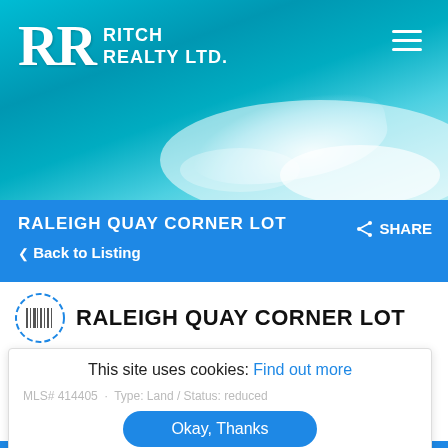[Figure (photo): Aerial view of turquoise ocean water with white wave foam, used as website header background]
RITCH REALTY LTD.
RALEIGH QUAY CORNER LOT
< Back to Listing
SHARE
RALEIGH QUAY CORNER LOT
Seven Mile Beach, Cayman Islands
This site uses cookies: Find out more
MLS# 414405 · Type: Land / Status: reduced
Okay, Thanks